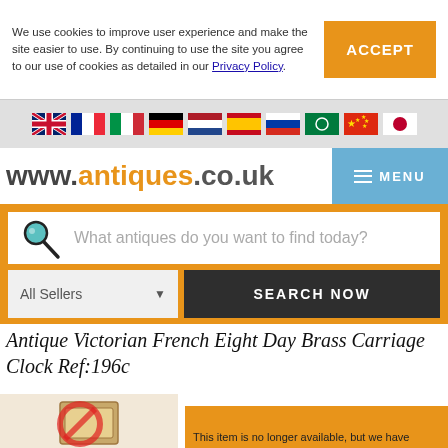We use cookies to improve user experience and make the site easier to use. By continuing to use the site you agree to our use of cookies as detailed in our Privacy Policy.
ACCEPT
[Figure (screenshot): Row of country flag icons: UK, France, Italy, Germany, Netherlands, Spain, Russia, Middle East/Arabic, China, Japan]
www.antiques.co.uk
MENU
What antiques do you want to find today?
All Sellers
SEARCH NOW
Antique Victorian French Eight Day Brass Carriage Clock Ref:196c
[Figure (photo): Partial image of an antique brass carriage clock with a red watermark/no symbol overlay]
This item is no longer available, but we have